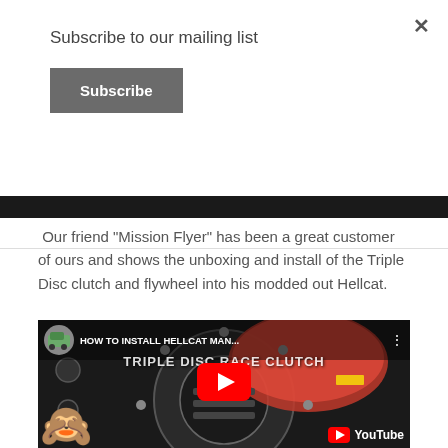Subscribe to our mailing list
Subscribe
[Figure (screenshot): Dark image strip showing partial images at the top of the page]
Our friend "Mission Flyer" has been a great customer of ours and shows the unboxing and install of the Triple Disc clutch and flywheel into his modded out Hellcat.
[Figure (screenshot): YouTube video thumbnail showing a Triple Disc Race Clutch with title overlay 'HOW TO INSTALL HELLCAT MAN...' and a YouTube play button. A monkey emoji is visible in the lower left and the YouTube logo in the lower right.]